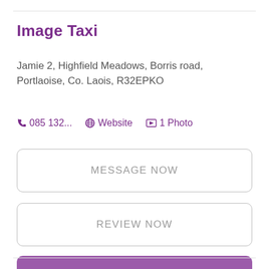Image Taxi
Jamie 2, Highfield Meadows, Borris road, Portlaoise, Co. Laois, R32EPKO
085 132...   Website   1 Photo
MESSAGE NOW
REVIEW NOW
IS THIS YOUR BUSINESS? CLAIM NOW!